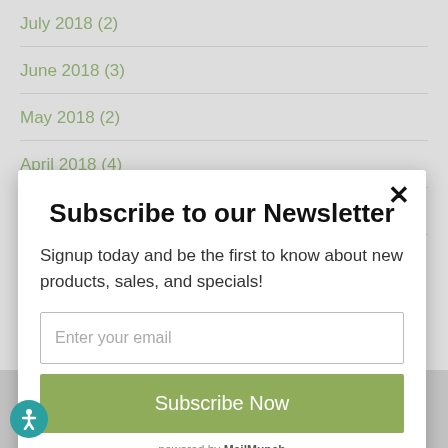July 2018 (2)
June 2018 (3)
May 2018 (2)
April 2018 (4)
March 2018 (2)
Subscribe to our Newsletter
Signup today and be the first to know about new products, sales, and specials!
Enter your email
Subscribe Now
powered by MailMunch